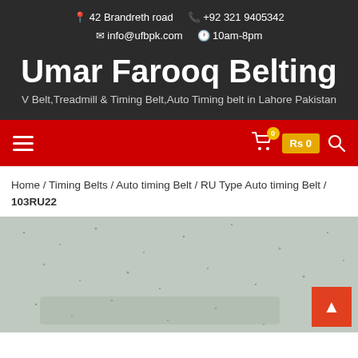42 Brandreth road   +92 321 9405342   info@ufbpk.com   10am-8pm
Umar Farooq Belting
V Belt,Treadmill & Timing Belt,Auto Timing belt in Lahore Pakistan
[Figure (screenshot): Red navigation bar with hamburger menu on left, shopping cart icon with badge showing 0, price Rs 0 in yellow-orange box, and search icon on right]
Home / Timing Belts / Auto timing Belt / RU Type Auto timing Belt / 103RU22
[Figure (photo): Product photo showing a grey/green timing belt in plastic packaging, with a back-to-top orange arrow button in the bottom right corner]